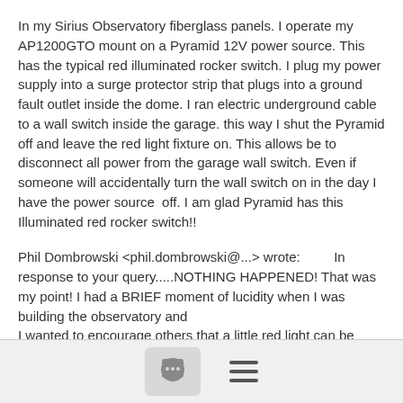In my Sirius Observatory fiberglass panels. I operate my AP1200GTO mount on a Pyramid 12V power source. This has the typical red illuminated rocker switch. I plug my power supply into a surge protector strip that plugs into a ground fault outlet inside the dome. I ran electric underground cable to a wall switch inside the garage. this way I shut the Pyramid off and leave the red light fixture on. This allows be to disconnect all power from the garage wall switch. Even if someone will accidentally turn the wall switch on in the day I have the power source  off. I am glad Pyramid has this Illuminated red rocker switch!!
Phil Dombrowski <phil.dombrowski@...> wrote:         In response to your query.....NOTHING HAPPENED! That was my point! I had a BRIEF moment of lucidity when I was building the observatory and
I wanted to encourage others that a little red light can be most helpful and reassuring so that when you "close the door" you can feel
[Figure (other): Footer bar with a comment/chat icon button and a hamburger menu icon]